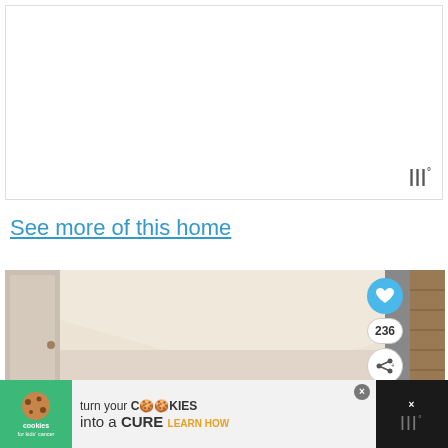[Figure (photo): White/blank advertisement or content area with Wemo-like logo in bottom right corner]
See more of this home
[Figure (photo): Interior bathroom photo showing ceiling with recessed lights and arched detail, beige walls, with heart (like) button showing 236 saves and a share button on the right side]
[Figure (photo): Advertisement banner: cookies for kids cancer - turn your cookies into a CURE LEARN HOW]